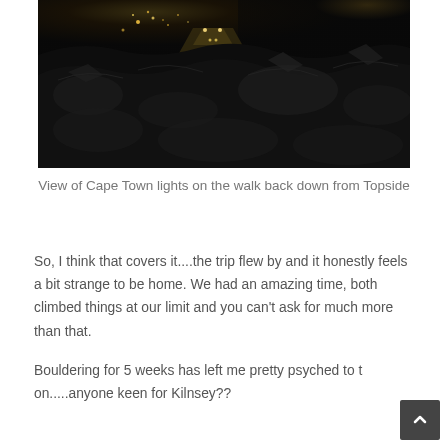[Figure (photo): Dark nighttime photograph showing rocky terrain in the foreground with city lights of Cape Town visible in the background, taken during a walk back down from Topside.]
View of Cape Town lights on the walk back down from Topside
So, I think that covers it....the trip flew by and it honestly feels a bit strange to be home. We had an amazing time, both climbed things at our limit and you can't ask for much more than that.
Bouldering for 5 weeks has left me pretty psyched to t on.....anyone keen for Kilnsey??